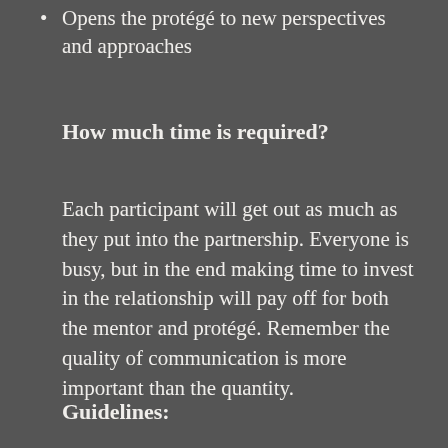Opens the protégé to new perspectives and approaches
How much time is required?
Each participant will get out as much as they put into the partnership. Everyone is busy, but in the end making time to invest in the relationship will pay off for both the mentor and protégé. Remember the quality of communication is more important than the quantity.
Guidelines: